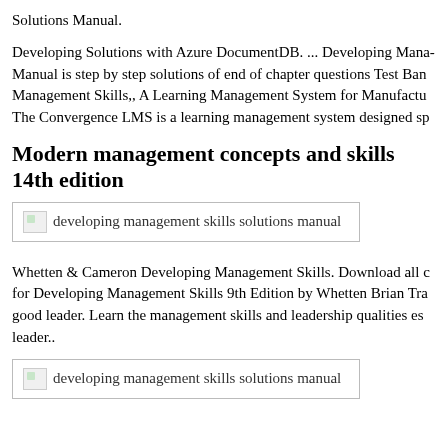Solutions Manual.
Developing Solutions with Azure DocumentDB. ... Developing Management Skills Solutions Manual is step by step solutions of end of chapter questions Test Bank for Developing Management Skills,, A Learning Management System for Manufacturing: The Convergence LMS is a learning management system designed sp
Modern management concepts and skills 14th edition
[Figure (illustration): Broken image placeholder with alt text: developing management skills solutions manual]
Whetten & Cameron Developing Management Skills. Download all chapters for Developing Management Skills 9th Edition by Whetten Brian Tracy good leader. Learn the management skills and leadership qualities es leader..
[Figure (illustration): Broken image placeholder with alt text: developing management skills solutions manual]